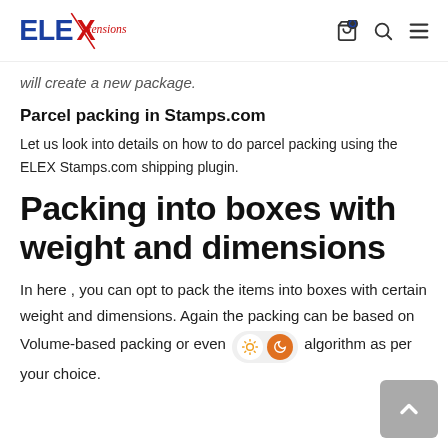ELEXtensions [logo] [cart icon] [search icon] [menu icon]
will create a new package.
Parcel packing in Stamps.com
Let us look into details on how to do parcel packing using the ELEX Stamps.com shipping plugin.
Packing into boxes with weight and dimensions
In here , you can opt to pack the items into boxes with certain weight and dimensions. Again the packing can be based on Volume-based packing or even algorithm as per your choice.